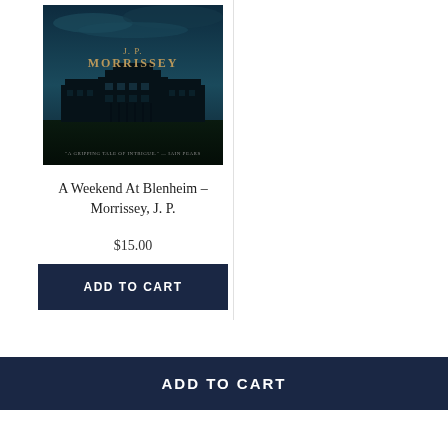[Figure (illustration): Book cover of 'A Weekend At Blenheim' by J.P. Morrissey. Dark teal/blue cover showing a large manor house (Blenheim Palace) silhouetted against a stormy sky. Author name 'J. P. MORRISSEY' in gold letters. Quote at bottom: 'A GRIPPING TALE OF INTRIGUE.' — IAIN PEARS]
A Weekend At Blenheim – Morrissey, J. P.
$15.00
ADD TO CART
ADD TO CART